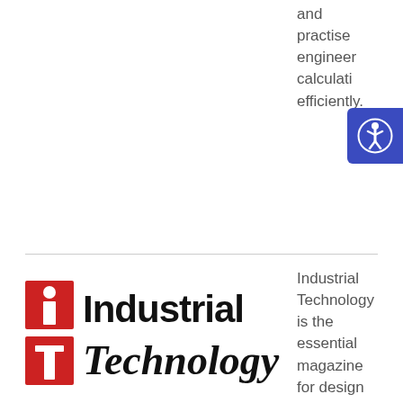and practise engineering calculations efficiently.
[Figure (logo): Industrial Technology magazine logo with red 'i' and 't' icons beside bold text 'Industrial Technology']
Industrial Technology is the essential magazine for design engineers and machine builders, across all industries. Read the